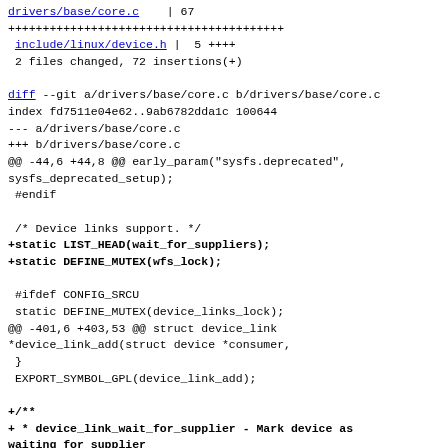drivers/base/core.c | 67 ++++++++++++++++++++++++++++++++++++++++
include/linux/device.h | 5 ++++
2 files changed, 72 insertions(+)

diff --git a/drivers/base/core.c b/drivers/base/core.c
index fd7511e04e62..9ab6782dda1c 100644
--- a/drivers/base/core.c
+++ b/drivers/base/core.c
@@ -44,6 +44,8 @@ early_param("sysfs.deprecated",
sysfs_deprecated_setup);
 #endif

 /* Device links support. */
+static LIST_HEAD(wait_for_suppliers);
+static DEFINE_MUTEX(wfs_lock);

 #ifdef CONFIG_SRCU
 static DEFINE_MUTEX(device_links_lock);
@@ -401,6 +403,53 @@ struct device_link
*device_link_add(struct device *consumer,
 }
 EXPORT_SYMBOL_GPL(device_link_add);

+/**
+ * device_link_wait_for_supplier - Mark device as waiting for supplier
+ * @consumer: Consumer device
+ * *
+ * Marks the consumer device as waiting for suppliers